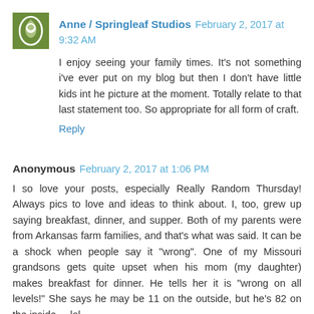Anne / Springleaf Studios  February 2, 2017 at 9:32 AM
I enjoy seeing your family times. It's not something i've ever put on my blog but then I don't have little kids int he picture at the moment. Totally relate to that last statement too. So appropriate for all form of craft.
Reply
Anonymous  February 2, 2017 at 1:06 PM
I so love your posts, especially Really Random Thursday! Always pics to love and ideas to think about. I, too, grew up saying breakfast, dinner, and supper. Both of my parents were from Arkansas farm families, and that's what was said. It can be a shock when people say it "wrong". One of my Missouri grandsons gets quite upset when his mom (my daughter) makes breakfast for dinner. He tells her it is "wrong on all levels!" She says he may be 11 on the outside, but he's 82 on the inside.....lol
Reply